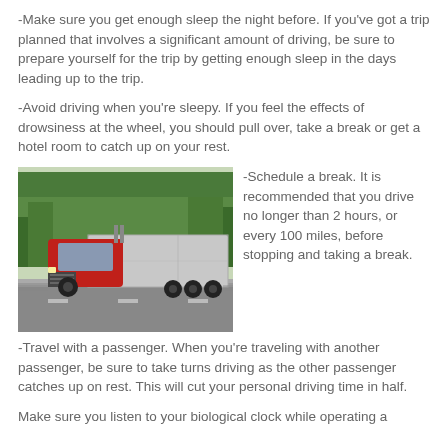-Make sure you get enough sleep the night before. If you've got a trip planned that involves a significant amount of driving, be sure to prepare yourself for the trip by getting enough sleep in the days leading up to the trip.
-Avoid driving when you're sleepy. If you feel the effects of drowsiness at the wheel, you should pull over, take a break or get a hotel room to catch up on your rest.
[Figure (photo): Red semi-truck with gray trailer driving on a highway surrounded by green trees]
-Schedule a break. It is recommended that you drive no longer than 2 hours, or every 100 miles, before stopping and taking a break.
-Travel with a passenger. When you're traveling with another passenger, be sure to take turns driving as the other passenger catches up on rest. This will cut your personal driving time in half.
Make sure you listen to your biological clock while operating a